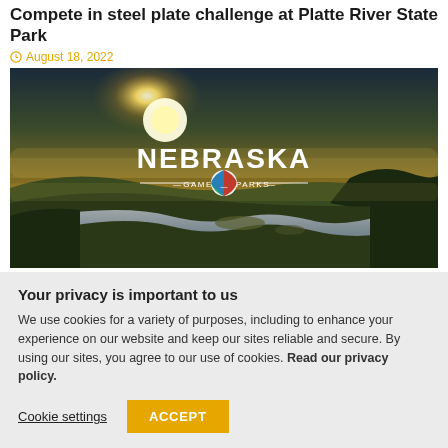Compete in steel plate challenge at Platte River State Park
August 18, 2022
[Figure (photo): Aerial scenic view of a river winding through grasslands and trees at golden sunset, with Nebraska Game & Parks logo overlay]
Your privacy is important to us
We use cookies for a variety of purposes, including to enhance your experience on our website and keep our sites reliable and secure. By using our sites, you agree to our use of cookies. Read our privacy policy.
Cookie settings
ACCEPT